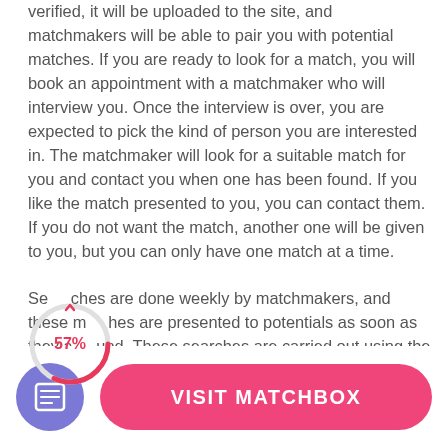verified, it will be uploaded to the site, and matchmakers will be able to pair you with potential matches. If you are ready to look for a match, you will book an appointment with a matchmaker who will interview you. Once the interview is over, you are expected to pick the kind of person you are interested in. The matchmaker will look for a suitable match for you and contact you when one has been found. If you like the match presented to you, you can contact them. If you do not want the match, another one will be given to you, but you can only have one match at a time.

Searches are done weekly by matchmakers, and these matches are presented to potentials as soon as they are found. These searches are carried out using the website members' parameters, including age
[Figure (donut-chart): Partial donut/circle chart showing 57% label in pink/red with partial arc overlay on the text]